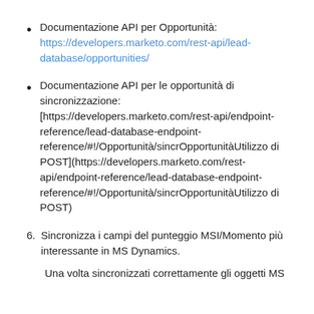Documentazione API per Opportunità: https://developers.marketo.com/rest-api/lead-database/opportunities/
Documentazione API per le opportunità di sincronizzazione: [https://developers.marketo.com/rest-api/endpoint-reference/lead-database-endpoint-reference/#!/Opportunità/sincrOpportunitàUtilizzo di POST](https://developers.marketo.com/rest-api/endpoint-reference/lead-database-endpoint-reference/#!/Opportunità/sincrOpportunitàUtilizzo di POST)
6. Sincronizza i campi del punteggio MSI/Momento più interessante in MS Dynamics.
Una volta sincronizzati correttamente gli oggetti MS